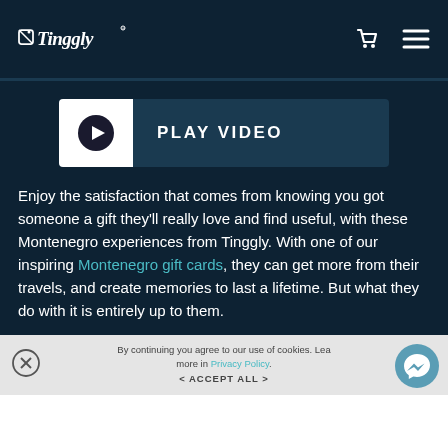Tinggly
[Figure (screenshot): Play Video button with white play icon box on left and PLAY VIDEO text on dark background]
Enjoy the satisfaction that comes from knowing you got someone a gift they'll really love and find useful, with these Montenegro experiences from Tinggly. With one of our inspiring Montenegro gift cards, they can get more from their travels, and create memories to last a lifetime. But what they do with it is entirely up to them.
By continuing you agree to our use of cookies. Learn more in Privacy Policy. < ACCEPT ALL >